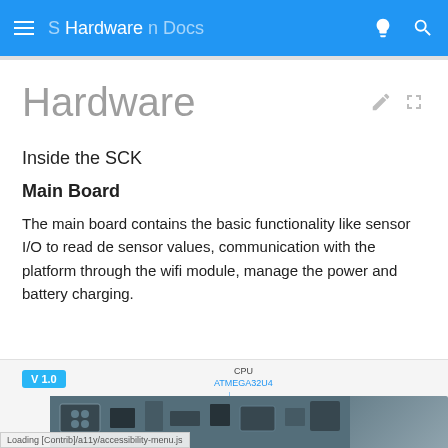Hardware Docs
Hardware
Inside the SCK
Main Board
The main board contains the basic functionality like sensor I/O to read de sensor values, communication with the platform through the wifi module, manage the power and battery charging.
[Figure (photo): Photo of SCK main board circuit board with CPU label showing ATMEGA32U4 and V1.0 version badge]